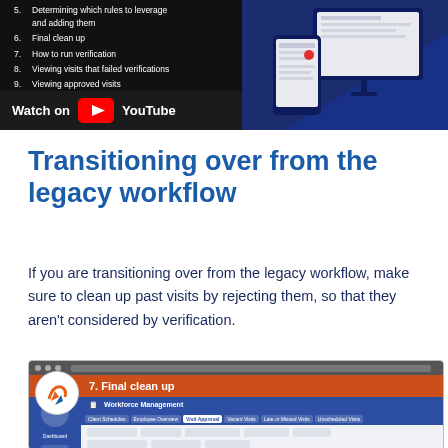[Figure (screenshot): YouTube video thumbnail showing a numbered list of workflow steps (items 5-9) including 'Determining which rules to leverage and adding them', 'Final clean up', 'How to run verification', 'Viewing visits that failed verifications', 'Viewing approved visits', with a Watch on YouTube bar at the bottom and a dark blue phone/device mockup on the right side]
Transitioning over from the legacy workflow
If you are transitioning over from the legacy workflow, make sure to clean up past visits by rejecting them, so that they aren't considered by verification.
[Figure (screenshot): Screenshot of workforce management application showing logo, orange title bar reading '7. Final clean up', blue Workforce Management navigation bar with tabs including Client Schedules, Employee Overview, Visit Approval (active), Vacant Visits, Late or Missed Visits, Unscheduled Visits, Vessel Recurrences, COVID-19 Absence Management]